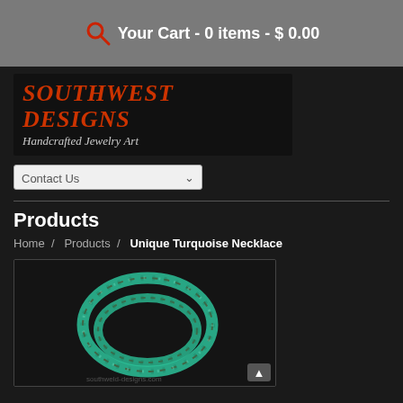Your Cart - 0 items - $ 0.00
[Figure (logo): Southwest Designs - Handcrafted Jewelry Art logo with orange/red stylized text on dark background]
Contact Us
Products
Home / Products / Unique Turquoise Necklace
[Figure (photo): Photo of a turquoise beaded necklace with green/teal disc beads arranged in a looped display against dark background, with watermark text 'southweld-designs.com']